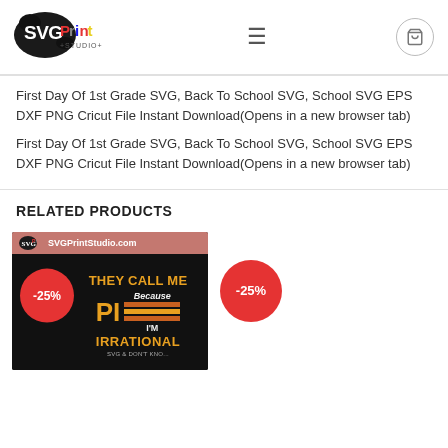[Figure (logo): SVG Print Studio logo with colorful text and ink splash]
First Day Of 1st Grade SVG, Back To School SVG, School SVG EPS DXF PNG Cricut File Instant Download(Opens in a new browser tab)
First Day Of 1st Grade SVG, Back To School SVG, School SVG EPS DXF PNG Cricut File Instant Download(Opens in a new browser tab)
RELATED PRODUCTS
[Figure (screenshot): Product thumbnail showing 'They Call Me PI Because I'm Irrational' SVG design with -25% sale badge]
[Figure (other): Second related product placeholder showing only -25% sale badge]